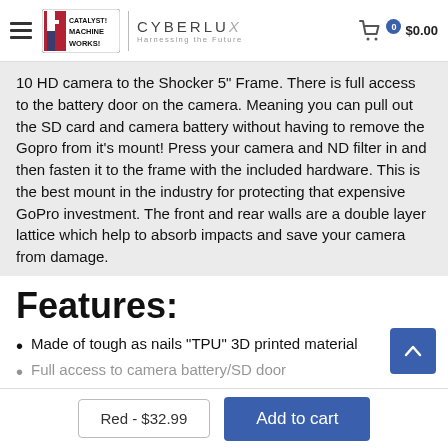Catalyst Machineworks | Cyberlux – Harnessing the Future | $0.00
10 HD camera to the Shocker 5" Frame. There is full access to the battery door on the camera. Meaning you can pull out the SD card and camera battery without having to remove the Gopro from it's mount! Press your camera and ND filter in and then fasten it to the frame with the included hardware. This is the best mount in the industry for protecting that expensive GoPro investment. The front and rear walls are a double layer lattice which help to absorb impacts and save your camera from damage.
Features:
Made of tough as nails "TPU" 3D printed material
Full access to camera battery/SD door
Red - $32.99  Add to cart